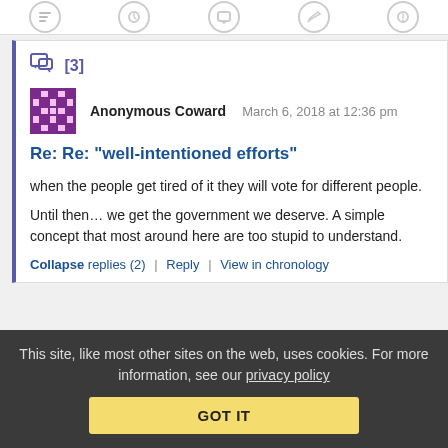[icons row]
[3]
Anonymous Coward   March 6, 2018 at 12:36 pm
Re: Re: "well-intentioned efforts"
when the people get tired of it they will vote for different people.
Until then… we get the government we deserve. A simple concept that most around here are too stupid to understand.
Collapse replies (2) | Reply | View in chronology
This site, like most other sites on the web, uses cookies. For more information, see our privacy policy
GOT IT